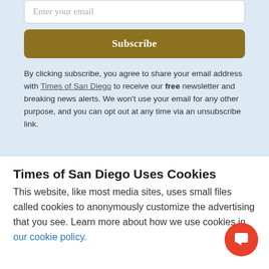Enter your email
Subscribe
By clicking subscribe, you agree to share your email address with Times of San Diego to receive our free newsletter and breaking news alerts. We won't use your email for any other purpose, and you can opt out at any time via an unsubscribe link.
Times of San Diego Uses Cookies
This website, like most media sites, uses small files called cookies to anonymously customize the advertising that you see. Learn more about how we use cookies in our cookie policy.